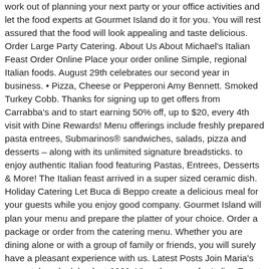work out of planning your next party or your office activities and let the food experts at Gourmet Island do it for you. You will rest assured that the food will look appealing and taste delicious. Order Large Party Catering. About Us About Michael's Italian Feast Order Online Place your order online Simple, regional Italian foods. August 29th celebrates our second year in business. • Pizza, Cheese or Pepperoni Amy Bennett. Smoked Turkey Cobb. Thanks for signing up to get offers from Carrabba's and to start earning 50% off, up to $20, every 4th visit with Dine Rewards! Menu offerings include freshly prepared pasta entrees, Submarinos® sandwiches, salads, pizza and desserts – along with its unlimited signature breadsticks. to enjoy authentic Italian food featuring Pastas, Entrees, Desserts & More! The Italian feast arrived in a super sized ceramic dish. Holiday Catering Let Buca di Beppo create a delicious meal for your guests while you enjoy good company. Gourmet Island will plan your menu and prepare the platter of your choice. Order a package or order from the catering menu. Whether you are dining alone or with a group of family or friends, you will surely have a pleasant experience with us. Latest Posts Join Maria's as we take a look back at 2020. View the menu for Italian Feast and restaurants in Little Falls, NY. You can reserve a table now by calling our landline. Lifelong friends Steven Botta and Angelo Bongiovanni have once again collaborated to bring you Feast Italian Kitchen. Explore the various regions of Italy and experience the flavors of as many items as you choose, as often as you like. • Artichoke chicken breast plate. Check out the menu for Michael's Italian